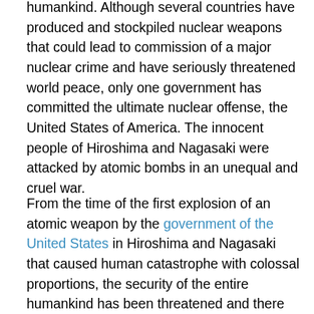humankind. Although several countries have produced and stockpiled nuclear weapons that could lead to commission of a major nuclear crime and have seriously threatened world peace, only one government has committed the ultimate nuclear offense, the United States of America. The innocent people of Hiroshima and Nagasaki were attacked by atomic bombs in an unequal and cruel war.
From the time of the first explosion of an atomic weapon by the government of the United States in Hiroshima and Nagasaki that caused human catastrophe with colossal proportions, the security of the entire humankind has been threatened and there has been a global consensus on the need for complete elimination of these weapons. The use of nuclear weapon not only caused massive loss of lives and destruction, but was also totally indiscriminate toward